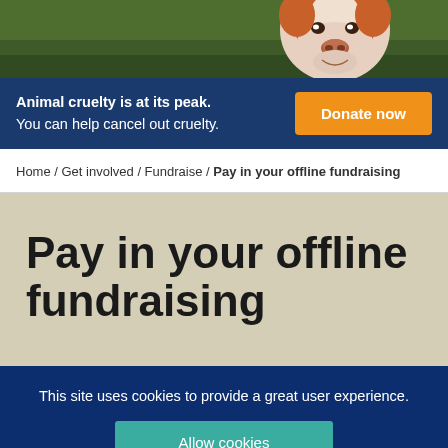[Figure (photo): Photo of a dog (appear to be a white and brown bull terrier type breed) against green grass background, cropped at top]
Animal cruelty is at its peak. You can help cancel out cruelty.
Donate now
Home / Get involved / Fundraise / Pay in your offline fundraising
Pay in your offline fundraising
This site uses cookies to provide a great user experience.
Allow cookies
Find out more about how we use cookies.